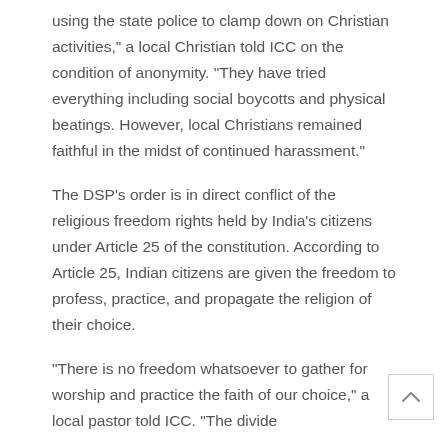using the state police to clamp down on Christian activities," a local Christian told ICC on the condition of anonymity. "They have tried everything including social boycotts and physical beatings. However, local Christians remained faithful in the midst of continued harassment."
The DSP's order is in direct conflict of the religious freedom rights held by India's citizens under Article 25 of the constitution. According to Article 25, Indian citizens are given the freedom to profess, practice, and propagate the religion of their choice.
"There is no freedom whatsoever to gather for worship and practice the faith of our choice," a local pastor told ICC. "The divide